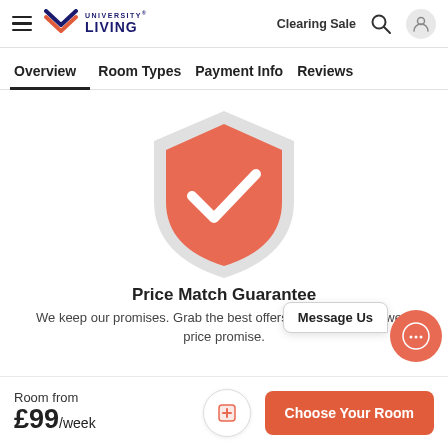University Living — Clearing Sale
Overview | Room Types | Payment Info | Reviews
[Figure (illustration): Shield icon with checkmark — red/coral shield with white checkmark in the center, light grey outer shield shape]
Price Match Guarantee
We keep our promises. Grab the best offers along with the lowest price promise.
Message Us
Room from £99/week
Choose Your Room